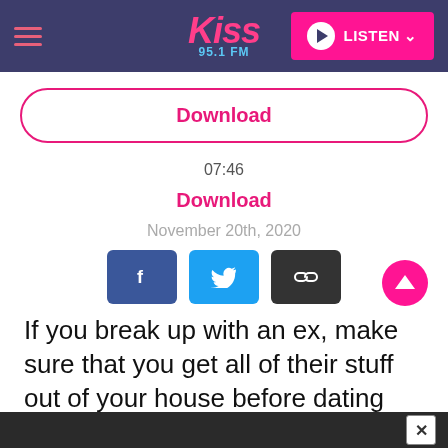Kiss 95.1 FM — LISTEN
Download
07:46
Download
November 20th, 2020
[Figure (infographic): Social share buttons: Facebook (blue), Twitter (cyan), Link/copy (dark gray), and a pink scroll-to-top circular button]
If you break up with an ex, make sure that you get all of their stuff out of your house before dating again.
× close